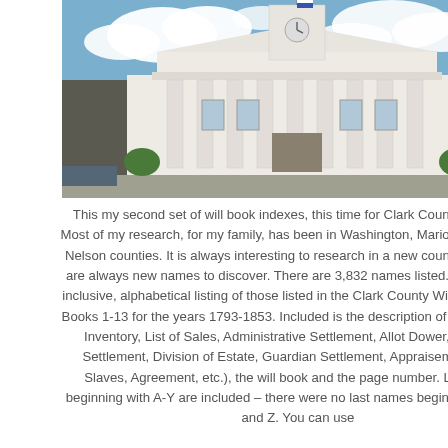[Figure (photo): Photograph of Clark County courthouse, a white neoclassical building with columns, American flag on top, under a partly cloudy blue sky.]
This my second set of will book indexes, this time for Clark County, Kentucky. Most of my research, for my family, has been in Washington, Marion, Garrard and Nelson counties. It is always interesting to research in a new county, since there are always new names to discover. There are 3,832 names listed. This is an all-inclusive, alphabetical listing of those listed in the Clark County Will Books Index, Books 1-13 for the years 1793-1853. Included is the description of the entry (Will, Inventory, List of Sales, Administrative Settlement, Allot Dower, Executors Settlement, Division of Estate, Guardian Settlement, Appraisement, List of Slaves, Agreement, etc.), the will book and the page number. Last names beginning with A-Y are included – there were no last names beginning with U, X and Z. You can use